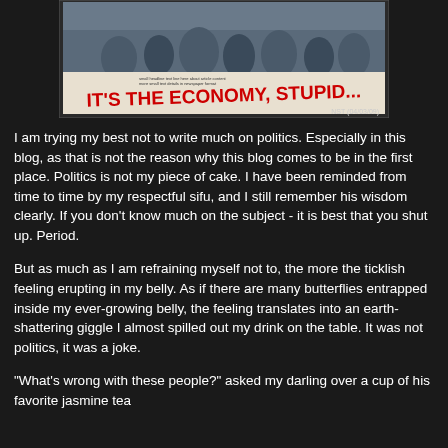[Figure (photo): A newspaper front page with the headline 'IT'S THE ECONOMY, STUPID...' in large red text, with a crowd of people in the background. Caption at bottom right reads 'NST (04/03/09)'.]
I am trying my best not to write much on politics. Especially in this blog, as that is not the reason why this blog comes to be in the first place. Politics is not my piece of cake. I have been reminded from time to time by my respectful sifu, and I still remember his wisdom clearly. If you don't know much on the subject - it is best that you shut up. Period.
But as much as I am refraining myself not to, the more the ticklish feeling erupting in my belly. As if there are many butterflies entrapped inside my ever-growing belly, the feeling translates into an earth-shattering giggle I almost spilled out my drink on the table. It was not politics, it was a joke.
"What's wrong with these people?" asked my darling over a cup of his favorite jasmine tea